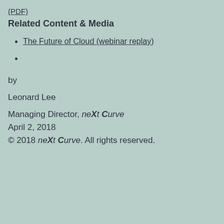(PDF)
Related Content & Media
The Future of Cloud (webinar replay)
by
Leonard Lee
Managing Director, neXt Curve
April 2, 2018
© 2018 neXt Curve. All rights reserved.